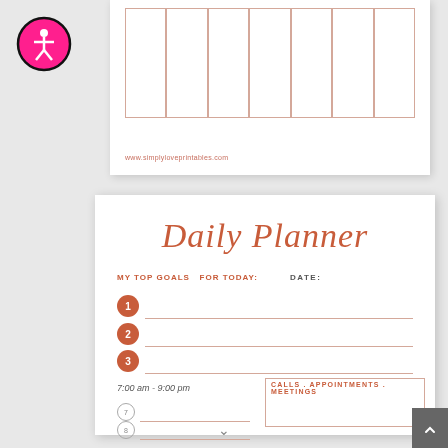[Figure (screenshot): Top portion of a weekly calendar/planner printable with grid cells and a website footer URL www.simplymep printables.com]
[Figure (logo): Accessibility icon: pink circle with black border containing a stick figure person symbol]
Daily Planner
MY TOP GOALS  FOR TODAY:
DATE:
1
2
3
7:00 am - 9:00 pm
7
8
CALLS . APPOINTMENTS . MEETINGS